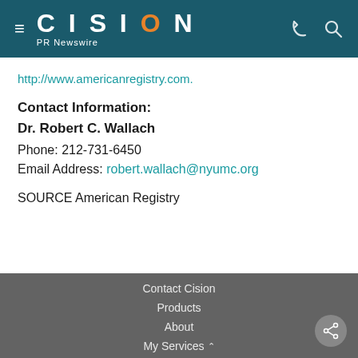≡ CISION PR Newswire
http://www.americanregistry.com.
Contact Information:
Dr. Robert C. Wallach
Phone: 212-731-6450
Email Address: robert.wallach@nyumc.org
SOURCE American Registry
Contact Cision
Products
About
My Services